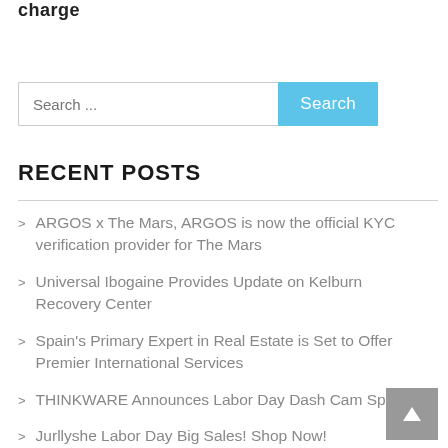charge
[Figure (other): Search bar with text input field showing 'Search ...' placeholder and a blue 'Search' button]
RECENT POSTS
ARGOS x The Mars, ARGOS is now the official KYC verification provider for The Mars
Universal Ibogaine Provides Update on Kelburn Recovery Center
Spain's Primary Expert in Real Estate is Set to Offer Premier International Services
THINKWARE Announces Labor Day Dash Cam Specials
Jurllyshe Labor Day Big Sales! Shop Now!